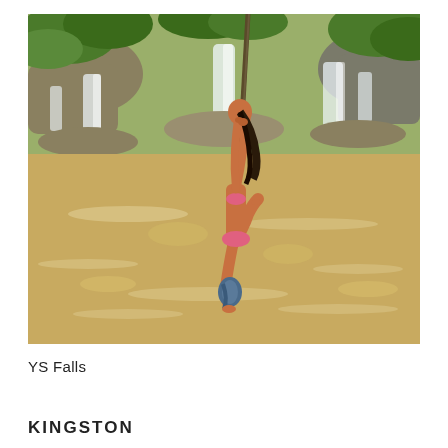[Figure (photo): A woman in a pink bikini climbing or swinging on a rope over a golden-brown river pool, with multi-tiered waterfalls and lush green vegetation in the background at YS Falls, Jamaica.]
YS Falls
KINGSTON